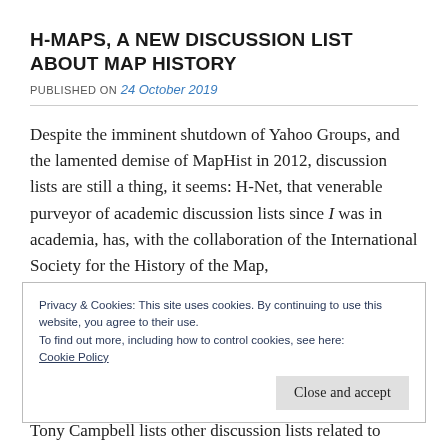H-MAPS, A NEW DISCUSSION LIST ABOUT MAP HISTORY
PUBLISHED ON 24 October 2019
Despite the imminent shutdown of Yahoo Groups, and the lamented demise of MapHist in 2012, discussion lists are still a thing, it seems: H-Net, that venerable purveyor of academic discussion lists since I was in academia, has, with the collaboration of the International Society for the History of the Map,
Privacy & Cookies: This site uses cookies. By continuing to use this website, you agree to their use.
To find out more, including how to control cookies, see here:
Cookie Policy
Close and accept
Tony Campbell lists other discussion lists related to